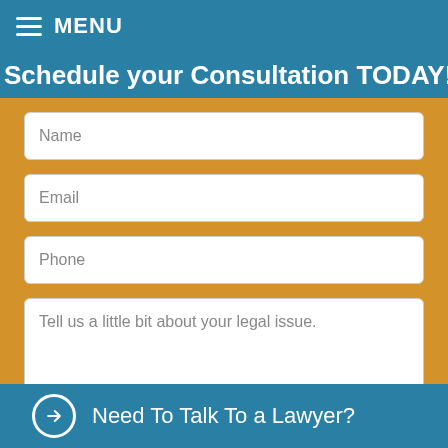MENU
Schedule your Consultation TODAY!
Name
Email
Phone
Tell us a little bit about your legal issue.
GET STARTED
Need To Talk To a Lawyer?